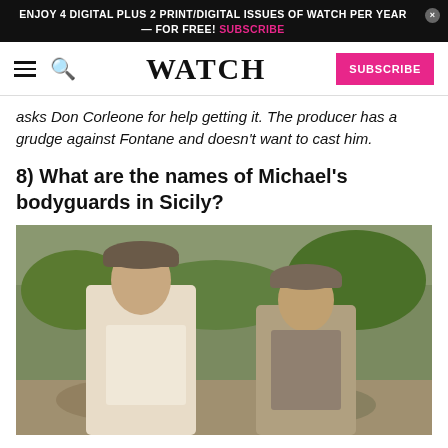ENJOY 4 DIGITAL PLUS 2 PRINT/DIGITAL ISSUES OF WATCH PER YEAR — FOR FREE! SUBSCRIBE
WATCH
asks Don Corleone for help getting it. The producer has a grudge against Fontane and doesn't want to cast him.
8) What are the names of Michael's bodyguards in Sicily?
[Figure (photo): Two men wearing flat caps in an outdoor Sicilian setting, from The Godfather film]